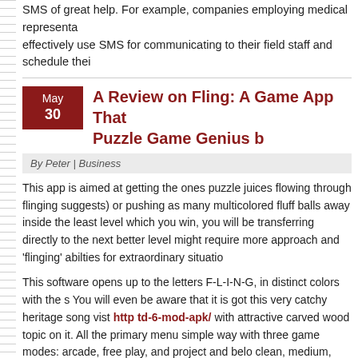SMS of great help. For example, companies employing medical representa effectively use SMS for communicating to their field staff and schedule thei
A Review on Fling: A Game App That Puzzle Game Genius b
By Peter | Business
This app is aimed at getting the ones puzzle juices flowing through flinging suggests) or pushing as many multicolored fluff balls away inside the least level which you win, you will be transferring directly to the next better level might require more approach and 'flinging' abilties for extraordinary situatio
This software opens up to the letters F-L-I-N-G, in distinct colors with the s You will even be aware that it is got this very catchy heritage song vist http td-6-mod-apk/ with attractive carved wood topic on it. All the primary menu simple way with three game modes: arcade, free play, and project and belo clean, medium, and hard that you may choose from. So, you basically just anything you want from the menus. For my first sport trial, I selected 'Arcad